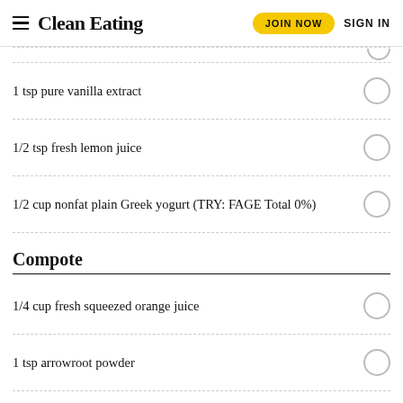Clean Eating | JOIN NOW | SIGN IN
1 tsp pure vanilla extract
1/2 tsp fresh lemon juice
1/2 cup nonfat plain Greek yogurt (TRY: FAGE Total 0%)
Compote
1/4 cup fresh squeezed orange juice
1 tsp arrowroot powder
2 packets stevia, or to taste